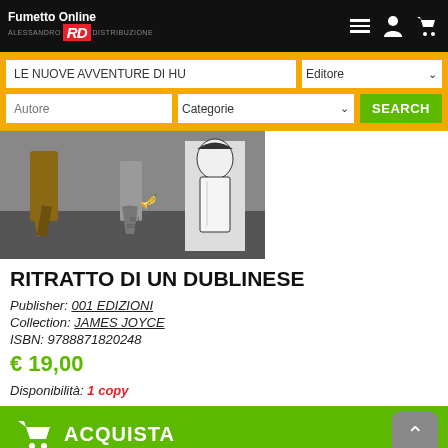[Figure (screenshot): Fumetto Online RD logo with red RD badge on black header bar]
[Figure (screenshot): Search bar with text input LE NUOVE AVVENTURE DI HU, Editore dropdown, Autore input, Categorie dropdown, and green SEARCH button]
[Figure (photo): Partial book cover image showing figures walking on a street, black and white illustrated character on right side]
RITRATTO DI UN DUBLINESE
Publisher: 001 EDIZIONI
Collection: JAMES JOYCE
ISBN: 9788871820248
€ 19,00
Disponibilità: 1 copy
[Figure (screenshot): Green ACQUISTA buy button with shopping cart icon and scroll-up button]